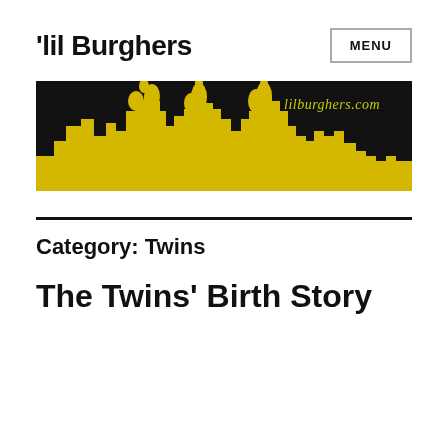'lil Burghers
[Figure (illustration): Black banner with yellow Pittsburgh skyline silhouette and text 'lilburghers.com' in yellow-green script in upper right]
Category: Twins
The Twins' Birth Story